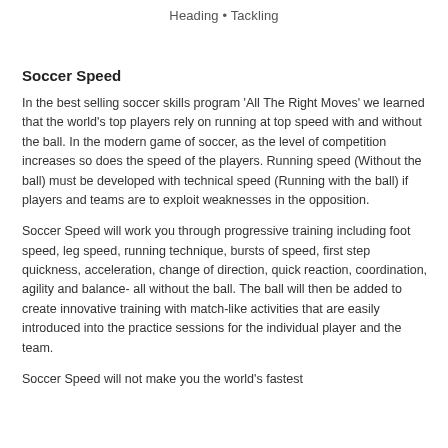Heading • Tackling
Soccer Speed
In the best selling soccer skills program 'All The Right Moves' we learned that the world's top players rely on running at top speed with and without the ball. In the modern game of soccer, as the level of competition increases so does the speed of the players. Running speed (Without the ball) must be developed with technical speed (Running with the ball) if players and teams are to exploit weaknesses in the opposition.
Soccer Speed will work you through progressive training including foot speed, leg speed, running technique, bursts of speed, first step quickness, acceleration, change of direction, quick reaction, coordination, agility and balance- all without the ball. The ball will then be added to create innovative training with match-like activities that are easily introduced into the practice sessions for the individual player and the team.
Soccer Speed will not make you the world's fastest